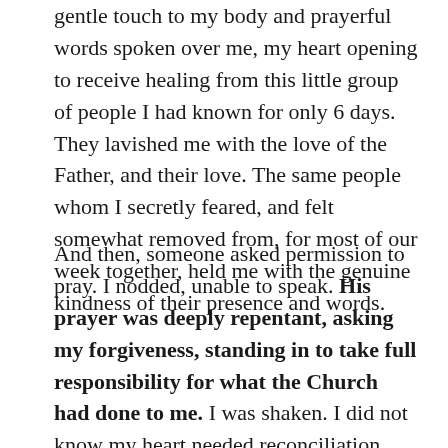gentle touch to my body and prayerful words spoken over me, my heart opening to receive healing from this little group of people I had known for only 6 days. They lavished me with the love of the Father, and their love. The same people whom I secretly feared, and felt somewhat removed from, for most of our week together, held me with the genuine kindness of their presence and words.
And then, someone asked permission to pray. I nodded, unable to speak. His prayer was deeply repentant, asking my forgiveness, standing in to take full responsibility for what the Church had done to me. I was shaken. I did not know my heart needed reconciliation. But a generous knowledge of what was required and then given, met my unspoken need.